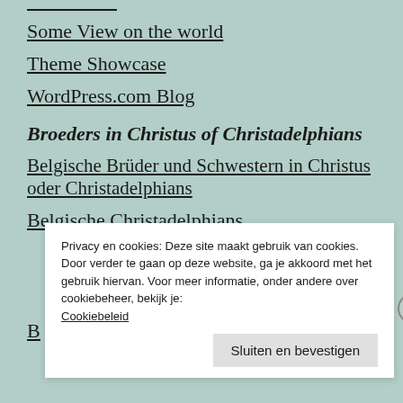Some View on the world
Theme Showcase
WordPress.com Blog
Broeders in Christus of Christadelphians
Belgische Brüder und Schwestern in Christus oder Christadelphians
Belgische Christadelphians
Privacy en cookies: Deze site maakt gebruik van cookies. Door verder te gaan op deze website, ga je akkoord met het gebruik hiervan. Voor meer informatie, onder andere over cookiebeheer, bekijk je: Cookiebeleid
Sluiten en bevestigen